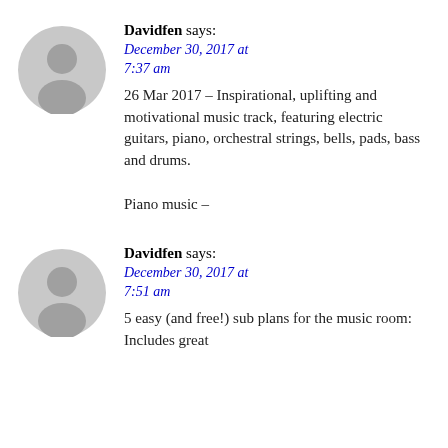[Figure (illustration): Gray circular avatar placeholder with person silhouette icon, first comment]
Davidfen says:
December 30, 2017 at 7:37 am
26 Mar 2017 – Inspirational, uplifting and motivational music track, featuring electric guitars, piano, orchestral strings, bells, pads, bass and drums.

Piano music –
[Figure (illustration): Gray circular avatar placeholder with person silhouette icon, second comment]
Davidfen says:
December 30, 2017 at 7:51 am
5 easy (and free!) sub plans for the music room: Includes great